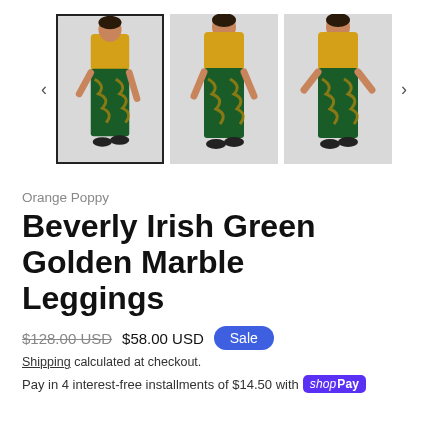[Figure (photo): Product gallery showing three thumbnail images of a woman wearing green and gold marble leggings with a yellow top, with left and right navigation arrows. First thumbnail is selected with a border.]
Orange Poppy
Beverly Irish Green Golden Marble Leggings
$128.00 USD  $58.00 USD  Sale
Shipping calculated at checkout.
Pay in 4 interest-free installments of $14.50 with shop Pay